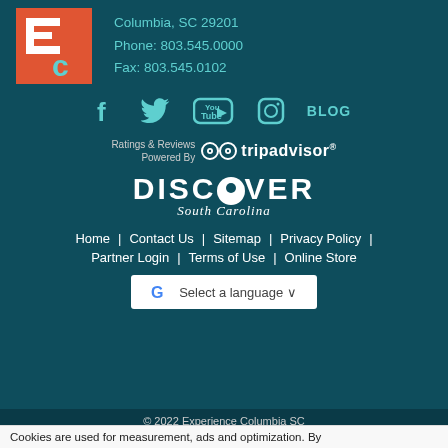[Figure (logo): Experience Columbia SC logo with orange/red background and EC letters]
Columbia, SC 29201
Phone: 803.545.0000
Fax: 803.545.0102
[Figure (infographic): Social media icons: Facebook, Twitter, YouTube, Instagram, and BLOG link]
[Figure (logo): Ratings & Reviews Powered By TripAdvisor logo]
[Figure (logo): Discover South Carolina logo]
Home | Contact Us | Sitemap | Privacy Policy | Partner Login | Terms of Use | Online Store
[Figure (other): Google Translate widget - Select a language dropdown]
© 2022 Experience Columbia SC
made by simploview
Cookies are used for measurement, ads and optimization. By